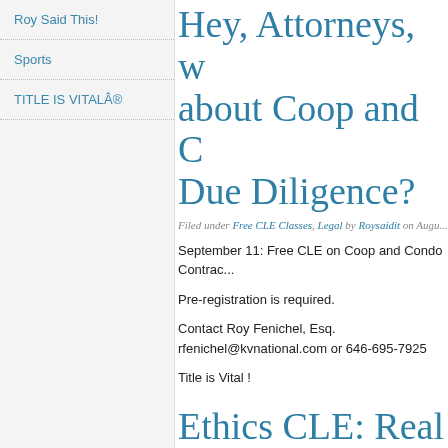Roy Said This!
Sports
TITLE IS VITALÂ®
Hey, Attorneys, w... about Coop and C... Due Diligence?
Filed under Free CLE Classes, Legal by Roysaidit on Augu...
September 11: Free CLE on Coop and Condo Contrac...
Pre-registration is required.
Contact Roy Fenichel, Esq.
rfenichel@kvnational.com or 646-695-7925
Title is Vital !
Ethics CLE: Real...